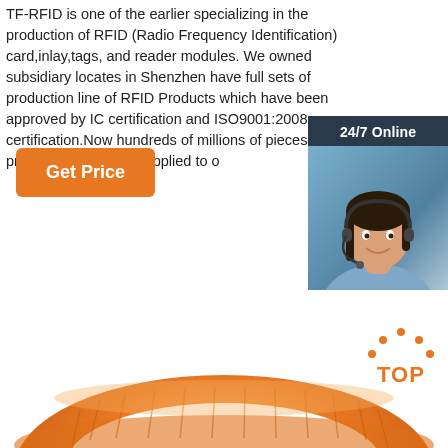TF-RFID is one of the earlier specializing in the production of RFID (Radio Frequency Identification) card,inlay,tags, and reader modules. We owned subsidiary locates in Shenzhen have full sets of production line of RFID Products which have been approved by IC certification and ISO9001:2008 certification.Now hundreds of millions of pieces of RFID products have been supplied to o...
Get Price
[Figure (infographic): Chat widget with '24/7 Online' header, customer service representative photo (woman with headset), 'Click here for free chat!' text, and orange QUOTATION button]
[Figure (photo): Orange silicone RFID wristband, shown from above, wide angle, with ridged texture]
[Figure (other): TOP icon with orange dots arranged in arc above orange text 'TOP']